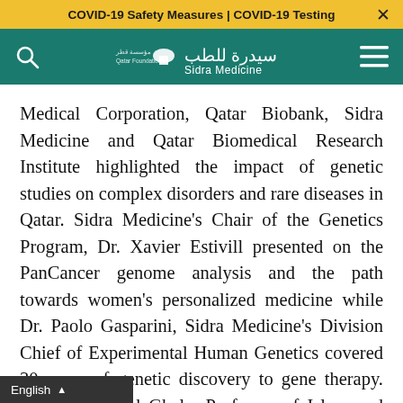COVID-19 Safety Measures | COVID-19 Testing
[Figure (logo): Sidra Medicine logo with Qatar Foundation branding on teal/green navigation bar]
Medical Corporation, Qatar Biobank, Sidra Medicine and Qatar Biomedical Research Institute highlighted the impact of genetic studies on complex disorders and rare diseases in Qatar. Sidra Medicine's Chair of the Genetics Program, Dr. Xavier Estivill presented on the PanCancer genome analysis and the path towards women's personalized medicine while Dr. Paolo Gasparini, Sidra Medicine's Division Chief of Experimental Human Genetics covered 30 years of genetic discovery to gene therapy. Dr. Mohammed Ghaly, Professor of Islam and Biomedical Ethics from Hamad Bin Khalifa University discussed the Islamic perspective on ethical concerns and issues related to
English